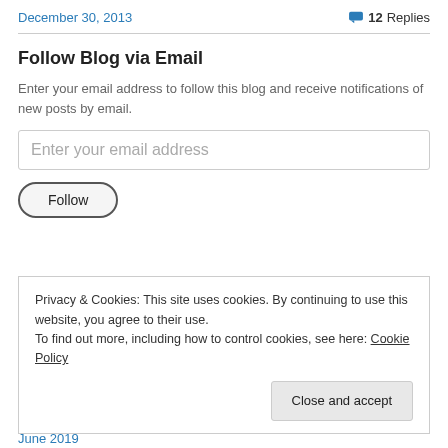December 30, 2013   12 Replies
Follow Blog via Email
Enter your email address to follow this blog and receive notifications of new posts by email.
Enter your email address
Follow
Privacy & Cookies: This site uses cookies. By continuing to use this website, you agree to their use.
To find out more, including how to control cookies, see here: Cookie Policy
Close and accept
June 2019